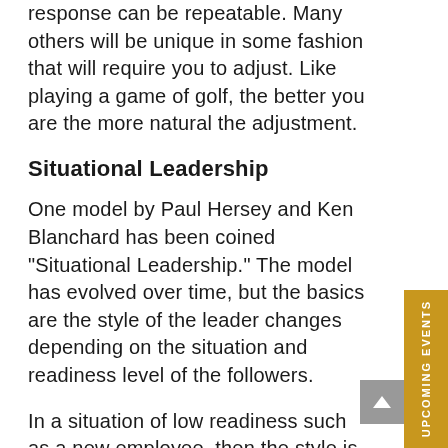response can be repeatable.  Many others will be unique in some fashion that will require you to adjust.  Like playing a game of golf, the better you are the more natural the adjustment.
Situational Leadership
One model by Paul Hersey and Ken Blanchard has been coined "Situational Leadership."  The model has evolved over time, but the basics are the style of the leader changes depending on the situation and readiness level of the followers.
In a situation of low readiness such as a new employee, then the style is much more directive. You have to tell them what